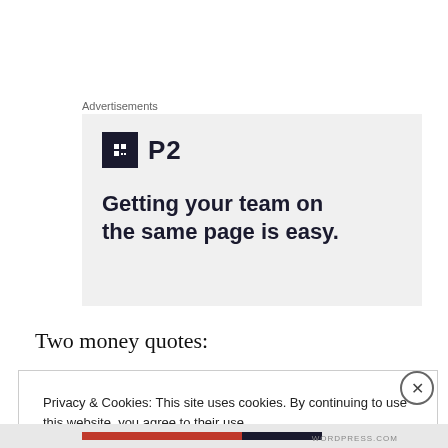Advertisements
[Figure (other): Advertisement for P2 product. Shows a dark square logo icon with 'P2' text beside it, and tagline: 'Getting your team on the same page is easy.']
Two money quotes:
Privacy & Cookies: This site uses cookies. By continuing to use this website, you agree to their use.
To find out more, including how to control cookies, see here:
Cookie Policy
Close and accept